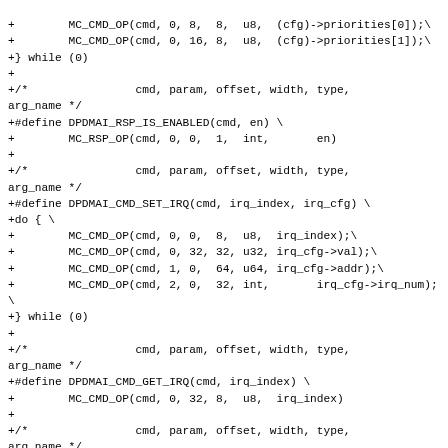+        MC_CMD_OP(cmd, 0, 8,  8,  u8,  (cfg)->priorities[0]);\
+        MC_CMD_OP(cmd, 0, 16, 8,  u8,  (cfg)->priorities[1]);\
+} while (0)
+
+/*                cmd, param, offset, width, type, arg_name */
+#define DPDMAI_RSP_IS_ENABLED(cmd, en) \
+        MC_RSP_OP(cmd, 0, 0,  1,  int,       en)
+
+/*                cmd, param, offset, width, type, arg_name */
+#define DPDMAI_CMD_SET_IRQ(cmd, irq_index, irq_cfg) \
+do { \
+        MC_CMD_OP(cmd, 0, 0,  8,  u8,  irq_index);\
+        MC_CMD_OP(cmd, 0, 32, 32, u32, irq_cfg->val);\
+        MC_CMD_OP(cmd, 1, 0,  64, u64, irq_cfg->addr);\
+        MC_CMD_OP(cmd, 2, 0,  32, int,       irq_cfg->irq_num); \
+} while (0)
+
+/*                cmd, param, offset, width, type, arg_name */
+#define DPDMAI_CMD_GET_IRQ(cmd, irq_index) \
+        MC_CMD_OP(cmd, 0, 32, 8,  u8,  irq_index)
+
+/*                cmd, param, offset, width, type, arg_name */
+#define DPDMAI_RSP_GET_IRQ(cmd, type, irq_cfg) \